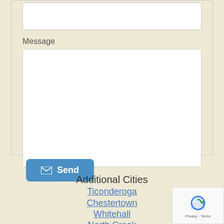[Figure (screenshot): Top portion of a contact form showing an input box at the top (partially visible), a Message label, a large text area message box, and a blue Send button with envelope icon]
Message
Send
Additional Cities
Ticonderoga
Chestertown
Whitehall
North Creek